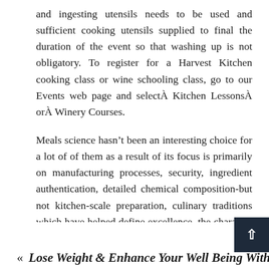and ingesting utensils needs to be used and sufficient cooking utensils supplied to final the duration of the event so that washing up is not obligatory. To register for a Harvest Kitchen cooking class or wine schooling class, go to our Events web page and selectÂ Kitchen LessonsÂ orÂ Winery Courses.
Meals science hasn’t been an interesting choice for a lot of of them as a result of its focus is primarily on manufacturing processes, security, ingredient authentication, detailed chemical composition-but not kitchen-scale preparation, culinary traditions which have helped define excellence, the character of deliciousness, innovation, creativity That is, notÂ the very facets of meals that encourage ardour in folks.
« Lose Weight & Enhance Your Well Being Withe...